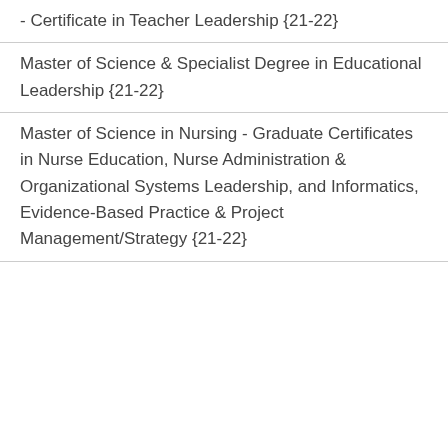- Certificate in Teacher Leadership {21-22}
Master of Science & Specialist Degree in Educational Leadership {21-22}
Master of Science in Nursing - Graduate Certificates in Nurse Education, Nurse Administration & Organizational Systems Leadership, and Informatics, Evidence-Based Practice & Project Management/Strategy {21-22}